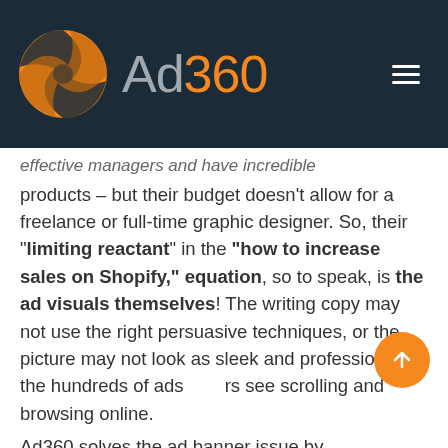[Figure (logo): Ad360 logo with orange circular swirl icon and stylized text 'Ad360' in grey and orange on dark navy background]
effective managers and have incredible products – but their budget doesn't allow for a freelance or full-time graphic designer. So, their "limiting reactant" in the "how to increase sales on Shopify," equation, so to speak, is the ad visuals themselves! The writing copy may not use the right persuasive techniques, or the picture may not look as sleek and professional as the hundreds of ads users see scrolling and browsing online.
Ad360 solves the ad banner issue by